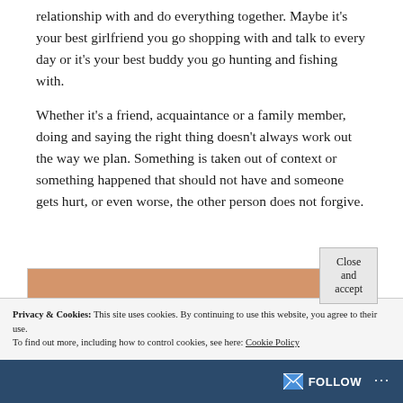relationship with and do everything together. Maybe it's your best girlfriend you go shopping with and talk to every day or it's your best buddy you go hunting and fishing with.
Whether it's a friend, acquaintance or a family member, doing and saying the right thing doesn't always work out the way we plan. Something is taken out of context or something happened that should not have and someone gets hurt, or even worse, the other person does not forgive.
[Figure (photo): Partial image with tan/brown color background, partially visible at bottom of content area]
Privacy & Cookies: This site uses cookies. By continuing to use this website, you agree to their use.
To find out more, including how to control cookies, see here: Cookie Policy
Close and accept
FOLLOW ···